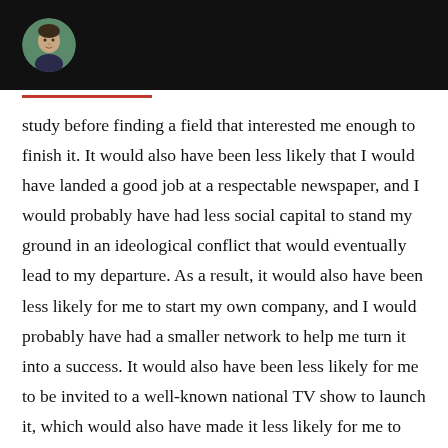[Author avatar and site header]
study before finding a field that interested me enough to finish it. It would also have been less likely that I would have landed a good job at a respectable newspaper, and I would probably have had less social capital to stand my ground in an ideological conflict that would eventually lead to my departure. As a result, it would also have been less likely for me to start my own company, and I would probably have had a smaller network to help me turn it into a success. It would also have been less likely for me to be invited to a well-known national TV show to launch it, which would also have made it less likely for me to pull together the seed capital I needed to establish this very platform.

In other words, if I were a black man, it would have been